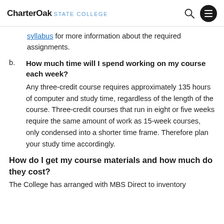CharterOak STATE COLLEGE
syllabus for more information about the required assignments.
b. How much time will I spend working on my course each week? Any three-credit course requires approximately 135 hours of computer and study time, regardless of the length of the course. Three-credit courses that run in eight or five weeks require the same amount of work as 15-week courses, only condensed into a shorter time frame. Therefore plan your study time accordingly.
How do I get my course materials and how much do they cost?
The College has arranged with MBS Direct to inventory